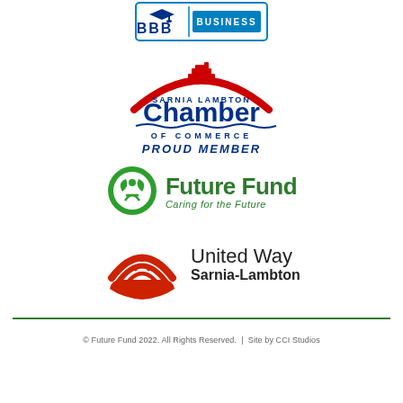[Figure (logo): BBB Business logo — Better Business Bureau logo with blue border and 'BBB' text with 'BUSINESS' label]
[Figure (logo): Sarnia Lambton Chamber of Commerce logo with red arc and ship icon, dark blue 'Chamber of Commerce' text, and 'PROUD MEMBER' italic bold text below]
[Figure (logo): Future Fund logo — green circular figure icon with 'Future Fund' in large dark green bold text and 'Caring for the Future' italic tagline]
[Figure (logo): United Way Sarnia-Lambton logo — red hand with rainbow arc and figure icon, with 'United Way' and 'Sarnia-Lambton' text]
© Future Fund 2022. All Rights Reserved.  |  Site by CCI Studios